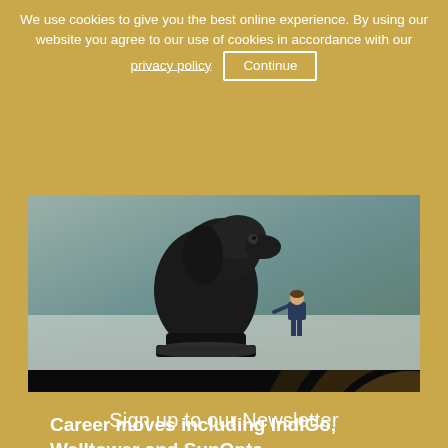We use cookies to give you the best online experience. By using our website you agree to our use of cookies in accordance with our privacy policy  Continue
[Figure (photo): A small figurine of a businessman standing next to a large black chess knight piece on a reflective surface with a blurred background.]
Company News
Career moves including IndiGo, Welltower and SunOpta
3y  |  Financial Director
[Figure (photo): A partial view of a colourful financial or data visualization banner at the bottom.]
Sign up to our Newsletter